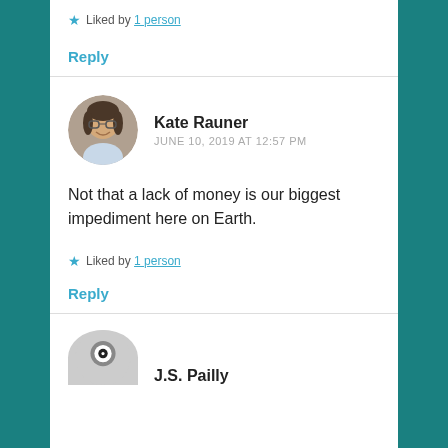★ Liked by 1 person
Reply
Kate Rauner
JUNE 10, 2019 AT 12:57 PM
Not that a lack of money is our biggest impediment here on Earth.
★ Liked by 1 person
Reply
J.S. Pailly